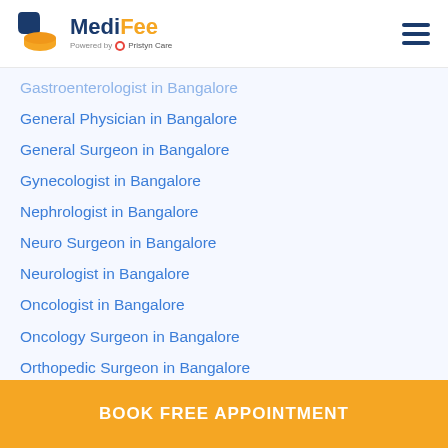MediFee - Powered by Pristyn Care
Gastroenterologist in Bangalore
General Physician in Bangalore
General Surgeon in Bangalore
Gynecologist in Bangalore
Nephrologist in Bangalore
Neuro Surgeon in Bangalore
Neurologist in Bangalore
Oncologist in Bangalore
Oncology Surgeon in Bangalore
Orthopedic Surgeon in Bangalore
Pediatrician in Bangalore
Plastic Surgeon in Bangalore
Psychiatrist in Bangalore
Radiologist in Bangalore
Urologist in Bangalore
BOOK FREE APPOINTMENT